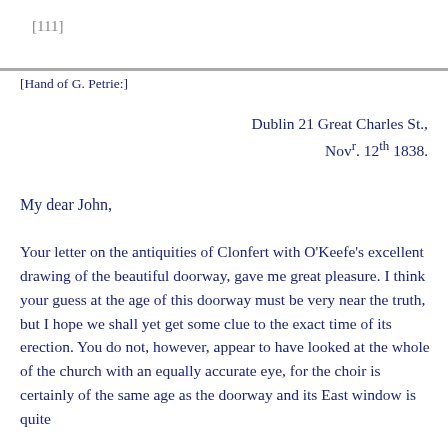[111]
[Hand of G. Petrie:]
Dublin 21 Great Charles St.,
Novr. 12th 1838.
My dear John,
Your letter on the antiquities of Clonfert with O'Keefe's excellent drawing of the beautiful doorway, gave me great pleasure. I think your guess at the age of this doorway must be very near the truth, but I hope we shall yet get some clue to the exact time of its erection. You do not, however, appear to have looked at the whole of the church with an equally accurate eye, for the choir is certainly of the same age as the doorway and its East window is quite